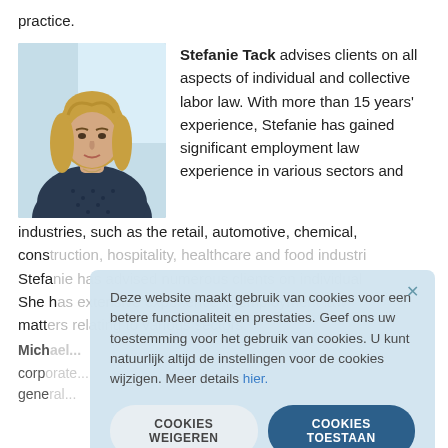practice.
[Figure (photo): Portrait photo of Stefanie Tack, a woman with long blonde hair wearing a dark patterned top, photographed in front of a light background.]
Stefanie Tack advises clients on all aspects of individual and collective labor law. With more than 15 years' experience, Stefanie has gained significant employment law experience in various sectors and industries, such as the retail, automotive, chemical, cons[truction, hospitality, healthcare and food industries]. Stefa[nie...] She h[as...] matt[ers...]
Mich[ael...]
corp[orate...] gene[ral...]
Deze website maakt gebruik van cookies voor een betere functionaliteit en prestaties. Geef ons uw toestemming voor het gebruik van cookies. U kunt natuurlijk altijd de instellingen voor de cookies wijzigen. Meer details hier.
COOKIES WEIGEREN
COOKIES TOESTAAN